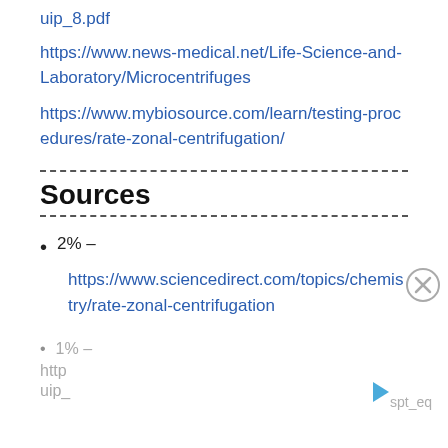uip_8.pdf
https://www.news-medical.net/Life-Science-and-Laboratory/Microcentrifuges
https://www.mybiosource.com/learn/testing-procedures/rate-zonal-centrifugation/
Sources
2% – https://www.sciencedirect.com/topics/chemistry/rate-zonal-centrifugation
1% – http ...spt_eq uip_...